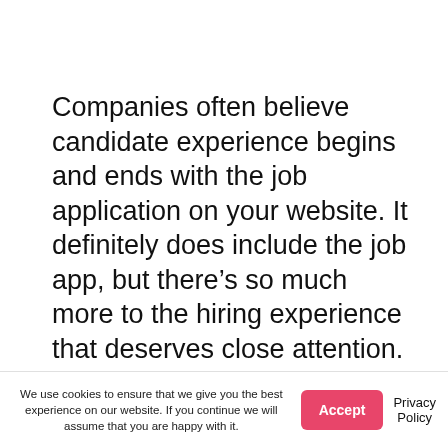Companies often believe candidate experience begins and ends with the job application on your website. It definitely does include the job app, but there's so much more to the hiring experience that deserves close attention.
To create an overall amazing hiring experience, you first have to define its wider boundaries...
We use cookies to ensure that we give you the best experience on our website. If you continue we will assume that you are happy with it. Accept  Privacy Policy